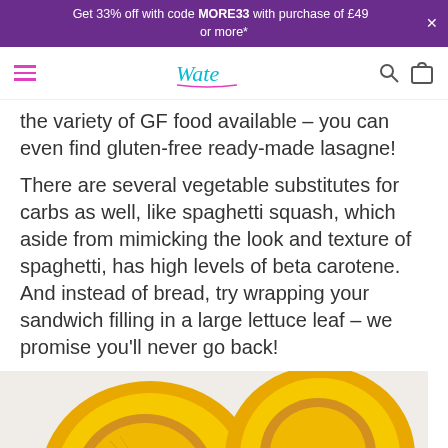Get 33% off with code MORE33 with purchase of £49 or more*
[Figure (screenshot): Website navigation bar with hamburger menu, 'Wate' logo in teal cursive, search icon, and cart icon]
the variety of GF food available – you can even find gluten-free ready-made lasagne!
There are several vegetable substitutes for carbs as well, like spaghetti squash, which aside from mimicking the look and texture of spaghetti, has high levels of beta carotene. And instead of bread, try wrapping your sandwich filling in a large lettuce leaf – we promise you'll never go back!
[Figure (photo): A halved spaghetti squash on a white plate with a fork, showing the stringy yellow interior flesh]